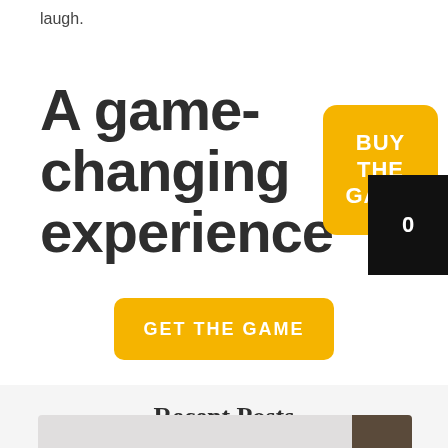laugh.
A game-changing experience
[Figure (other): Yellow rounded button with white bold text reading BUY THE GAME, overlapped by a black rectangle badge showing the number 0]
[Figure (other): Yellow rounded rectangle button with white bold uppercase text GET THE GAME]
Recent Posts
[Figure (photo): Partial photo showing a light gray background with a dark textured object in the lower right corner, cropped at the bottom of the page]